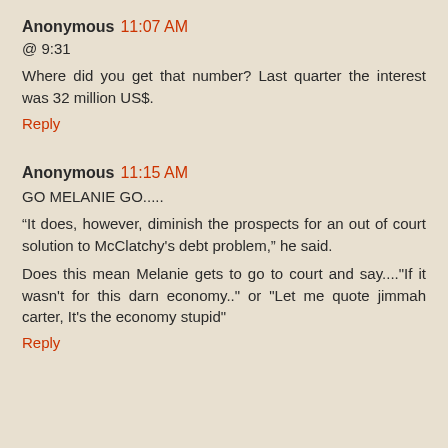Anonymous 11:07 AM
@ 9:31
Where did you get that number? Last quarter the interest was 32 million US$.
Reply
Anonymous 11:15 AM
GO MELANIE GO.....
“It does, however, diminish the prospects for an out of court solution to McClatchy’s debt problem,” he said.
Does this mean Melanie gets to go to court and say...."If it wasn't for this darn economy.." or "Let me quote jimmah carter, It's the economy stupid"
Reply